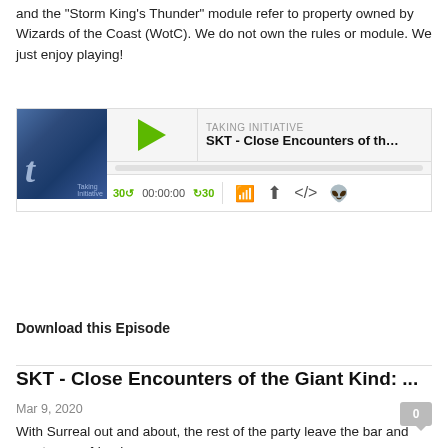and the "Storm King's Thunder" module refer to property owned by Wizards of the Coast (WotC). We do not own the rules or module. We just enjoy playing!
[Figure (screenshot): Podcast audio player for 'Taking Initiative' episode 'SKT - Close Encounters of the Gi...' with play button, progress bar, and playback controls showing 00:00:00]
Download this Episode
SKT - Close Encounters of the Giant Kind: ...
Mar 9, 2020
With Surreal out and about, the rest of the party leave the bar and meet a new friend.